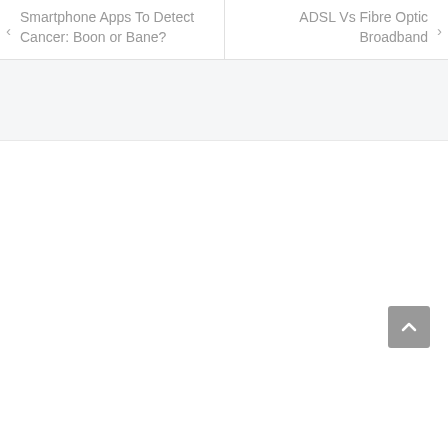< Smartphone Apps To Detect Cancer: Boon or Bane?
ADSL Vs Fibre Optic Broadband >
[Figure (other): Gray background band, likely a sidebar or widget area placeholder]
[Figure (other): White content area with a back-to-top button (upward chevron arrow) in the bottom-right corner]